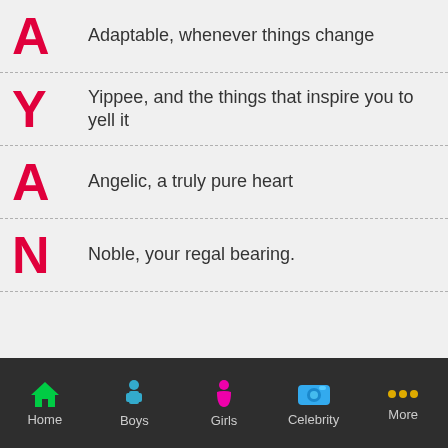A — Adaptable, whenever things change
Y — Yippee, and the things that inspire you to yell it
A — Angelic, a truly pure heart
N — Noble, your regal bearing.
Home | Boys | Girls | Celebrity | More